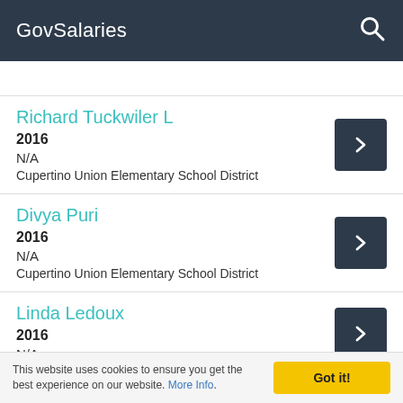GovSalaries
Richard Tuckwiler L
2016
N/A
Cupertino Union Elementary School District
Divya Puri
2016
N/A
Cupertino Union Elementary School District
Linda Ledoux
2016
N/A
This website uses cookies to ensure you get the best experience on our website. More Info.